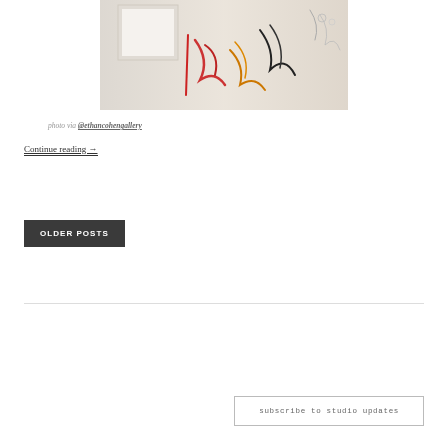[Figure (photo): Gallery wall with colorful abstract drawings/calligraphy sketches in red, orange, black and a framed white rectangular artwork mounted on the wall]
photo via @ethancohengallery
Continue reading →
OLDER POSTS
subscribe to studio updates